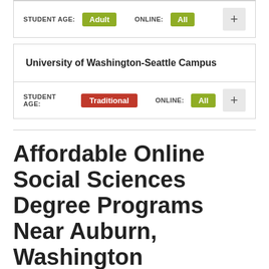| STUDENT AGE | ONLINE | Action |
| --- | --- | --- |
| Adult | All | + |
| School | STUDENT AGE | ONLINE | Action |
| --- | --- | --- | --- |
| University of Washington-Seattle Campus | Traditional | All | + |
Affordable Online Social Sciences Degree Programs Near Auburn, Washington
Wondering what you can expect to pay for an online social sciences degree near Auburn, Washington, or which online Auburn-area schools have the most affordable options? According to undergraduate